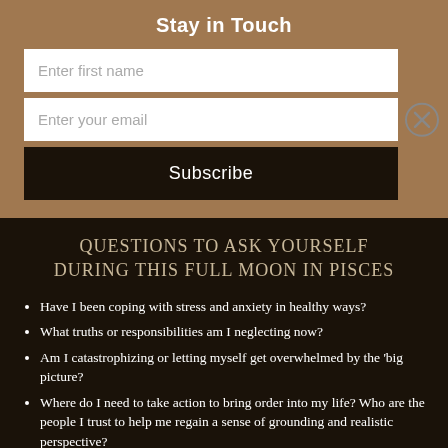Stay in Touch
QUESTIONS TO ASK YOURSELF DURING THIS FULL MOON IN PISCES
Have I been coping with stress and anxiety in healthy ways?
What truths or responsibilities am I neglecting now?
Am I catastrophizing or letting myself get overwhelmed by the 'big picture?
Where do I need to take action to bring order into my life? Who are the people I trust to help me regain a sense of grounding and realistic perspective?